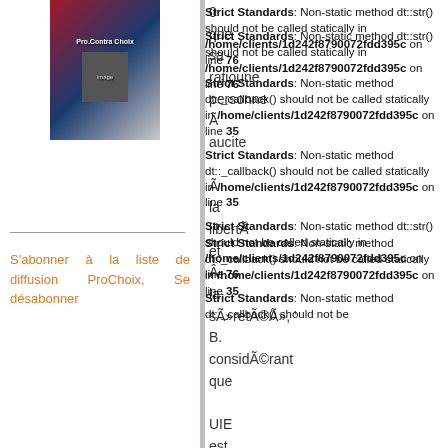[Figure (photo): Book cover image with red, blue and grey tones showing figures]
S'abonner à la liste de diffusion ProChoix, Se désabonner
Strict Standards: Non-static method dt::str() should not be called statically in /home/clients/1d242f8790072fdd395c on line 76
Strict Standards: Non-static method dt::_callback() should not be called statically in /home/clients/1d242f8790072fdd395c on line 35
Strict Standards: Non-static method dt::_callback() should not be called statically in /home/clients/1d242f8790072fdd395c on line 35
Strict Standards: Non-static method dt::str() should not be called statically in /home/clients/1d242f8790072fdd395c on line 76
Strict Standards: Non-static method dt::_callback() should not be called statically